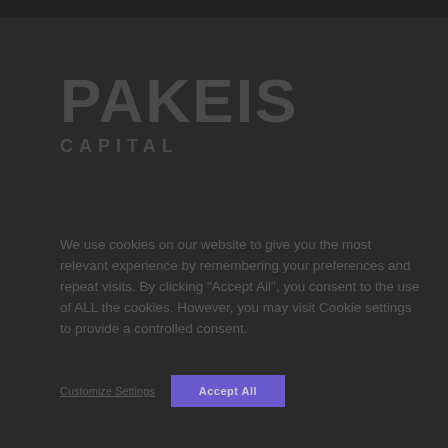[Figure (logo): PAKEIS logo with large bold text and subtitle underneath on dark background]
We use cookies on our website to give you the most relevant experience by remembering your preferences and repeat visits. By clicking "Accept All", you consent to the use of ALL the cookies. However, you may visit Cookie settings to provide a controlled consent.
Customize Settings   Accept All